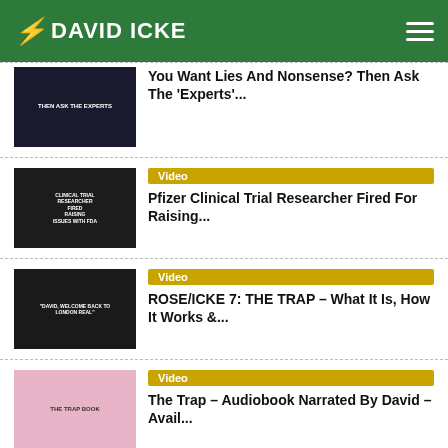DAVID ICKE
You Want Lies And Nonsense? Then Ask The 'Experts'...
Video – Pfizer Clinical Trial Researcher Fired For Raising...
Video – ROSE/ICKE 7: THE TRAP - What It Is, How It Works &...
Video – The Trap – Audiobook Narrated By David – Avail...
Article – What is the government of the United...